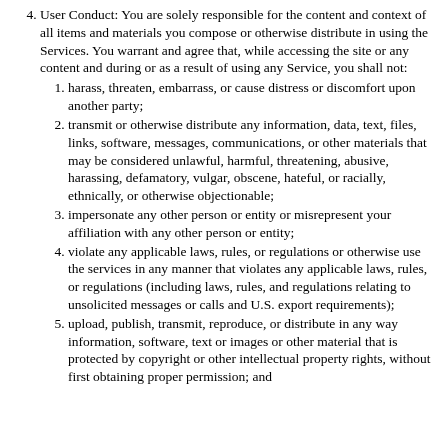User Conduct: You are solely responsible for the content and context of all items and materials you compose or otherwise distribute in using the Services. You warrant and agree that, while accessing the site or any content and during or as a result of using any Service, you shall not:
harass, threaten, embarrass, or cause distress or discomfort upon another party;
transmit or otherwise distribute any information, data, text, files, links, software, messages, communications, or other materials that may be considered unlawful, harmful, threatening, abusive, harassing, defamatory, vulgar, obscene, hateful, or racially, ethnically, or otherwise objectionable;
impersonate any other person or entity or misrepresent your affiliation with any other person or entity;
violate any applicable laws, rules, or regulations or otherwise use the services in any manner that violates any applicable laws, rules, or regulations (including laws, rules, and regulations relating to unsolicited messages or calls and U.S. export requirements);
upload, publish, transmit, reproduce, or distribute in any way information, software, text or images or other material that is protected by copyright or other intellectual property rights, without first obtaining proper permission; and